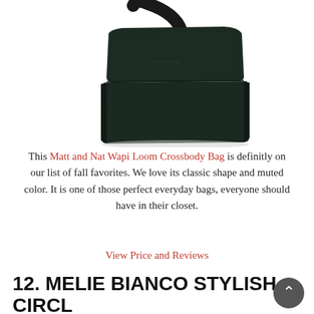[Figure (photo): Dark green/black structured crossbody bag with flap closure and shoulder strap, photographed on white background.]
This Matt and Nat Wapi Loom Crossbody Bag is definitly on our list of fall favorites. We love its classic shape and muted color. It is one of those perfect everyday bags, everyone should have in their closet.
View Price and Reviews
12. MELIE BIANCO STYLISH CIRCLE CROSSBODY BAG